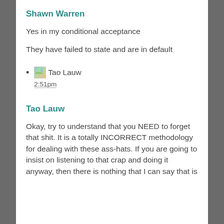Shawn Warren
Yes in my conditional acceptance
They have failed to state and are in default
Tao Lauw
2:51pm
Tao Lauw
Okay, try to understand that you NEED to forget that shit. It is a totally INCORRECT methodology for dealing with these ass-hats. If you are going to insist on listening to that crap and doing it anyway, then there is nothing that I can say that is